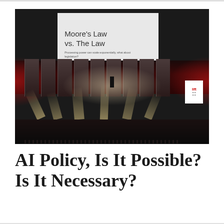[Figure (photo): Conference stage photograph showing a speaker presenting on stage with a large projection screen displaying 'Moore's Law vs. The Law — Processing power can scale exponentially, what about legislation?' The stage has dramatic red lighting on both sides, multiple floor spotlights creating beam effects, and a visible audience in the foreground.]
AI Policy, Is It Possible? Is It Necessary?